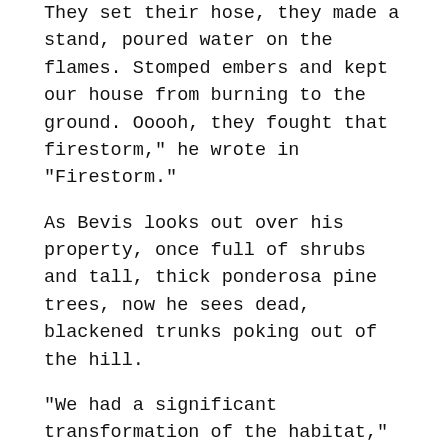They set their hose, they made a stand, poured water on the flames. Stomped embers and kept our house from burning to the ground. Ooooh, they fought that firestorm," he wrote in "Firestorm."
As Bevis looks out over his property, once full of shrubs and tall, thick ponderosa pine trees, now he sees dead, blackened trunks poking out of the hill.
“We had a significant transformation of the habitat,” Bevis said.
But where many would mourn the loss of bird habitat, Bevis — a wildlife biologist with the state Department of Natural Resources — knows better. To him, these dead trees are beautiful. To the birds in his backyard, they are now home.